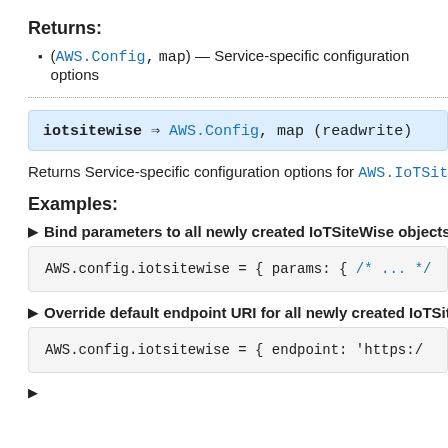Returns:
(AWS.Config, map) — Service-specific configuration options
iotsitewise ⇒ AWS.Config, map (readwrite)
Returns Service-specific configuration options for AWS.IoTSite
Examples:
Bind parameters to all newly created IoTSiteWise objects
AWS.config.iotsitewise = { params: { /* ... */
Override default endpoint URI for all newly created IoTSiteW
AWS.config.iotsitewise = { endpoint: 'https:/